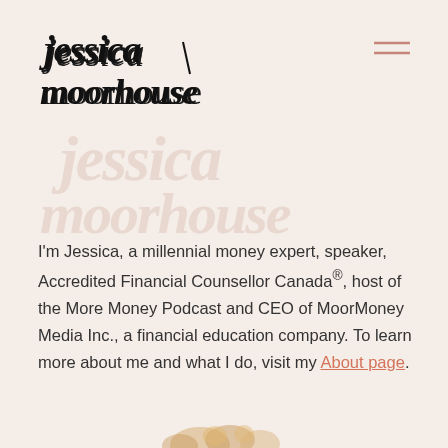[Figure (logo): Jessica Moorhouse cursive handwritten logo in black]
[Figure (illustration): Hamburger menu icon - two horizontal lines in salmon/pink color]
[Figure (illustration): Watermark of 'jessica moorhouse' in large light cursive text behind content]
I'm Jessica, a millennial money expert, speaker, Accredited Financial Counsellor Canada®, host of the More Money Podcast and CEO of MoorMoney Media Inc., a financial education company. To learn more about me and what I do, visit my About page.
[Figure (illustration): Decorative golden/yellow floral illustration at bottom of page]